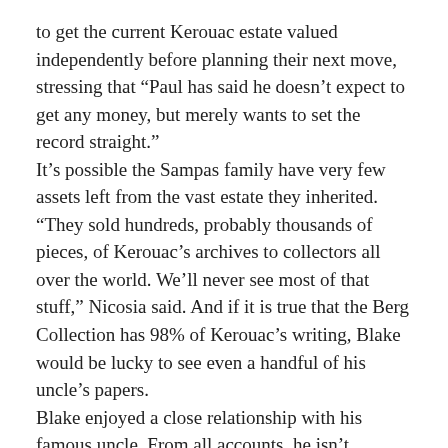to get the current Kerouac estate valued independently before planning their next move, stressing that “Paul has said he doesn’t expect to get any money, but merely wants to set the record straight.”
It’s possible the Sampas family have very few assets left from the vast estate they inherited. “They sold hundreds, probably thousands of pieces, of Kerouac’s archives to collectors all over the world. We’ll never see most of that stuff,” Nicosia said. And if it is true that the Berg Collection has 98% of Kerouac’s writing, Blake would be lucky to see even a handful of his uncle’s papers.
Blake enjoyed a close relationship with his famous uncle. From all accounts, he isn’t searching for fame or fortune. As his lawyer put it, “Paul Blake is a very